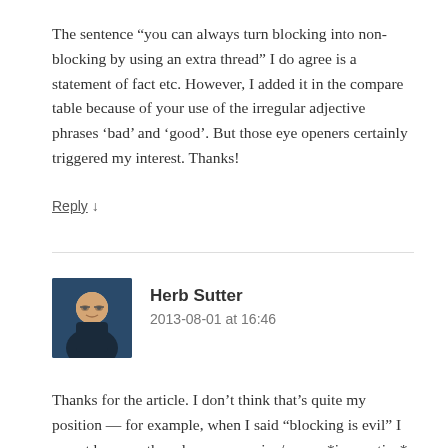The sentence “you can always turn blocking into non-blocking by using an extra thread” I do agree is a statement of fact etc. However, I added it in the compare table because of your use of the irregular adjective phrases ‘bad’ and ‘good’. But those eye openers certainly triggered my interest. Thanks!
Reply ↓
Herb Sutter
2013-08-01 at 16:46
Thanks for the article. I don’t think that’s quite my position — for example, when I said “blocking is evil” I meant because threads are expensive/scarce *in practice* today (esp. on servers and when today’s platforms often have implicit single-thread limitations in places like the GUI). Also, I should have